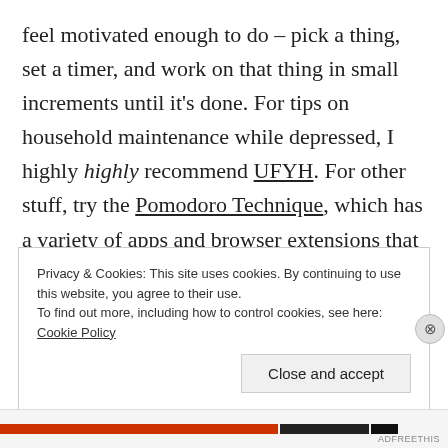feel motivated enough to do – pick a thing, set a timer, and work on that thing in small increments until it's done. For tips on household maintenance while depressed, I highly highly recommend UFYH. For other stuff, try the Pomodoro Technique, which has a variety of apps and browser extensions that can help for work-related tasks.
Privacy & Cookies: This site uses cookies. By continuing to use this website, you agree to their use.
To find out more, including how to control cookies, see here: Cookie Policy
Close and accept